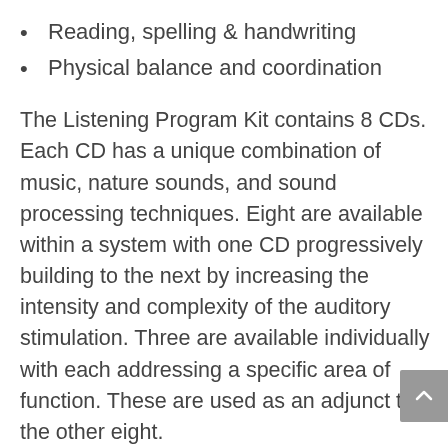Reading, spelling & handwriting
Physical balance and coordination
The Listening Program Kit contains 8 CDs. Each CD has a unique combination of music, nature sounds, and sound processing techniques. Eight are available within a system with one CD progressively building to the next by increasing the intensity and complexity of the auditory stimulation. Three are available individually with each addressing a specific area of function. These are used as an adjunct to the other eight.
The program entails 1 to 2 fifteen-minute listening sessions a day, five days per week. The average program length is eight weeks with many people finding it advantageous to repeat the program once or several